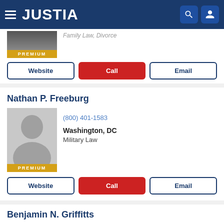JUSTIA
Family Law, Divorce
PREMIUM
Website | Call | Email
Nathan P. Freeburg
PREMIUM
(800) 401-1583
Washington, DC
Military Law
Website | Call | Email
Benjamin N. Griffitts
(888) 259-9787
Fairfax, VA